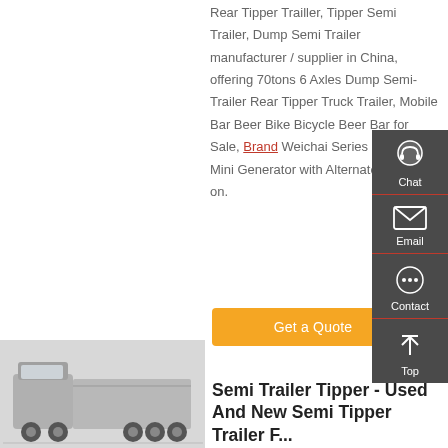Rear Tipper Trailler, Tipper Semi Trailer, Dump Semi Trailer manufacturer / supplier in China, offering 70tons 6 Axles Dump Semi-Trailer Rear Tipper Truck Trailer, Mobile Bar Beer Bike Bicycle Beer Bar for Sale, Brand Weichai Series 20-310kw Mini Generator with Alternator and so on.
Get a Quote
[Figure (screenshot): Sidebar with Chat, Email, Contact, and Top navigation icons on dark grey background]
[Figure (photo): Photo of a truck/semi trailer vehicle at bottom left]
Semi Trailer Tipper - Used And New Semi Tipper Trailer F...